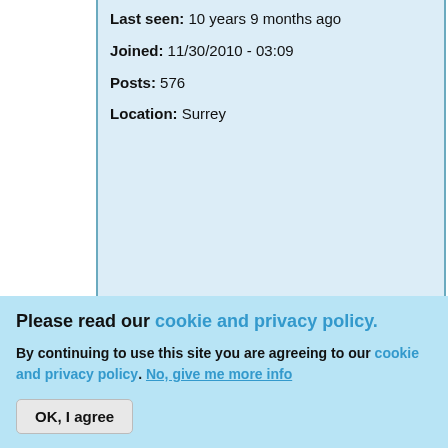Last seen: 10 years 9 months ago
Joined: 11/30/2010 - 03:09
Posts: 576
Location: Surrey
As... an... ha... cl... pr... W... m...
I've already of Tank007 time use c price.
Please read our cookie and privacy policy. By continuing to use this site you are agreeing to our cookie and privacy policy. No, give me more info
OK, I agree